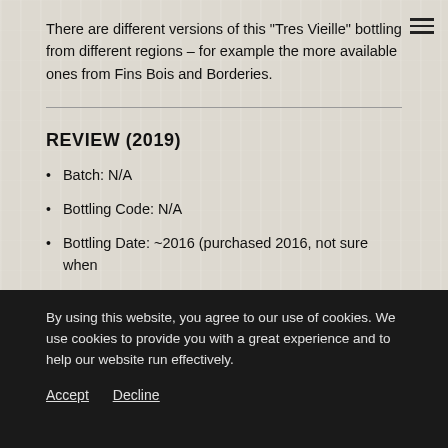There are different versions of this "Tres Vieille" bottling from different regions – for example the more available ones from Fins Bois and Borderies.
REVIEW (2019)
Batch: N/A
Bottling Code: N/A
Bottling Date: ~2016 (purchased 2016, not sure when
By using this website, you agree to our use of cookies. We use cookies to provide you with a great experience and to help our website run effectively.